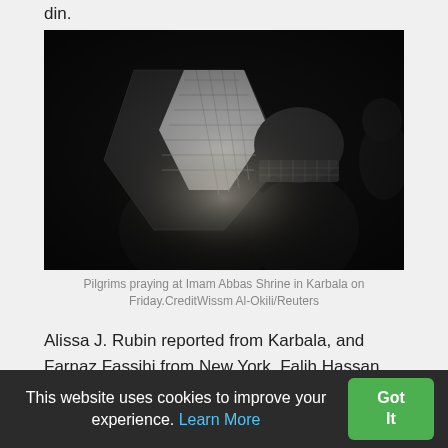din.
[Figure (photo): Dark photograph of pilgrims in traditional black-and-white keffiyeh headdresses praying, illuminated by a soft light against a dark background, at Imam Abbas Shrine in Karbala.]
Pilgrims praying at Imam Abbas Shrine in Karbala on Friday.CreditWissm Al-Okili/Reuters
Alissa J. Rubin reported from Karbala, and Farnaz Fassihi from New York. Falih Hassan contributed reporting from Karbala.
This website uses cookies to improve your experience. Learn More